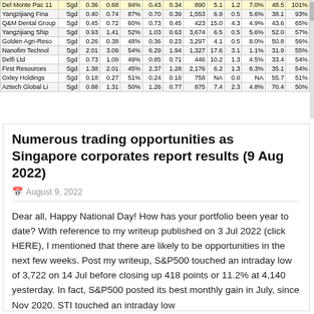| Company | Ccy | Price | TP | Upside | 52wH | 52wL | Mkt Cap | PE | EV/EBITDA | Div Yld | RSI | Analyst% |
| --- | --- | --- | --- | --- | --- | --- | --- | --- | --- | --- | --- | --- |
| Del Monte Pac 11 | Sgd | 0.36 | 0.68 | 94% | 0.43 | 0.34 | 890 | 5.1 | 1.2 | 7.0% | 48.5 | 101% |
| Yangzijiang Fina | Sgd | 0.40 | 0.74 | 87% | 0.70 | 0.39 | 1,553 | 6.9 | 0.5 | 5.6% | 38.1 | 93% |
| Q&M Dental Group | Sgd | 0.45 | 0.72 | 60% | 0.73 | 0.45 | 423 | 15.0 | 4.3 | 4.9% | 43.6 | 65% |
| Yangzijiang Ship | Sgd | 0.93 | 1.41 | 52% | 1.03 | 0.63 | 3,674 | 6.5 | 0.5 | 5.6% | 52.0 | 57% |
| Golden Agri-Reso | Sgd | 0.26 | 0.38 | 48% | 0.36 | 0.23 | 3,297 | 4.1 | 0.5 | 8.0% | 50.8 | 56% |
| Nanofim Technol | Sgd | 2.01 | 3.09 | 54% | 6.29 | 1.94 | 1,327 | 17.6 | 3.1 | 1.1% | 31.9 | 55% |
| Delfi Ltd | Sgd | 0.73 | 1.09 | 49% | 0.85 | 0.71 | 446 | 10.2 | 1.3 | 4.5% | 33.4 | 54% |
| First Resources | Sgd | 1.38 | 2.01 | 45% | 2.37 | 1.28 | 2,176 | 6.2 | 1.3 | 8.3% | 35.1 | 54% |
| Oxley Holdings | Sgd | 0.18 | 0.27 | 51% | 0.24 | 0.16 | 758 | NA | 0.0 | NA | 55.7 | 51% |
| Aztech Global Li | Sgd | 0.88 | 1.31 | 50% | 1.26 | 0.77 | 875 | 7.4 | 2.3 | 4.8% | 70.4 | 50% |
Numerous trading opportunities as Singapore corporates report results (9 Aug 2022)
August 9, 2022
Dear all, Happy National Day! How has your portfolio been year to date? With reference to my writeup published on 3 Jul 2022 (click HERE), I mentioned that there are likely to be opportunities in the next few weeks. Post my writeup, S&P500 touched an intraday low of 3,722 on 14 Jul before closing up 418 points or 11.2% at 4,140 yesterday. In fact, S&P500 posted its best monthly gain in July, since Nov 2020. STI touched an intraday low